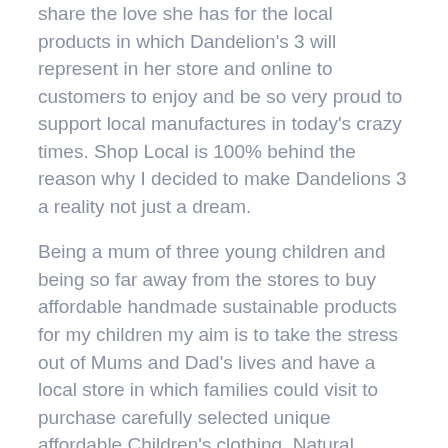share the love she has for the local products in which Dandelion's 3 will represent in her store and online to customers to enjoy and be so very proud to support local manufactures in today's crazy times. Shop Local is 100% behind the reason why I decided to make Dandelions 3 a reality not just a dream.
Being a mum of three young children and being so far away from the stores to buy affordable handmade sustainable products for my children my aim is to take the stress out of Mums and Dad's lives and have a local store in which families could visit to purchase carefully selected unique affordable Children's clothing, Natural Skincare, Wellbeing products, Eco friendly kitchenware, Handmade pottery ,sourcing handmade manufactures with a sustainable point of difference, along with feel good products such as candles which are all hand poured and Australian made and also a carefully selected homewares range, Handmade jewellery sourced from the Sunshine Coast